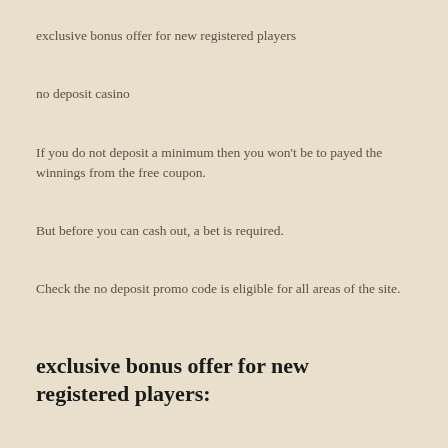exclusive bonus offer for new registered players
no deposit casino
If you do not deposit a minimum then you won't be to payed the winnings from the free coupon.
But before you can cash out, a bet is required.
Check the no deposit promo code is eligible for all areas of the site.
exclusive bonus offer for new registered players:
20 no deposit FS on Lucha Maniacs slot